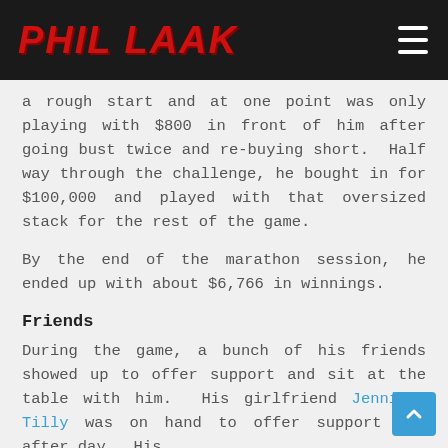PHIL LAAK
a rough start and at one point was only playing with $800 in front of him after going bust twice and re-buying short.  Half way through the challenge, he bought in for $100,000 and played with that oversized stack for the rest of the game.
By the end of the marathon session, he ended up with about $6,766 in winnings.
Friends
During the game, a bunch of his friends showed up to offer support and sit at the table with him.  His girlfriend Jennifer Tilly was on hand to offer support day after day.  His